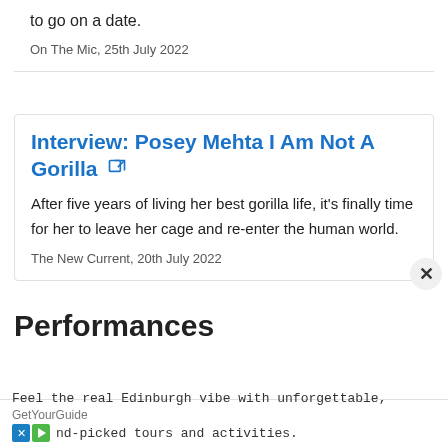to go on a date.
On The Mic, 25th July 2022
Interview: Posey Mehta I Am Not A Gorilla
After five years of living her best gorilla life, it's finally time for her to leave her cage and re-enter the human world.
The New Current, 20th July 2022
Performances
GetYourGuide
Feel the real Edinburgh vibe with unforgettable, nd-picked tours and activities.